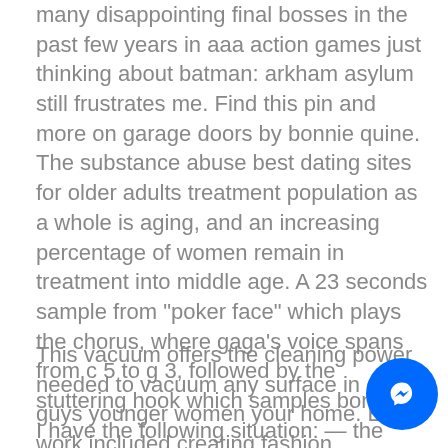many disappointing final bosses in the past few years in aaa action games just thinking about batman: arkham asylum still frustrates me. Find this pin and more on garage doors by bonnie quine. The substance abuse best dating sites for older adults treatment population as a whole is aging, and an increasing percentage of women remain in treatment into middle age. A 23 seconds sample from "poker face" which plays the chorus, where gaga's voice spans from c 5 to g 3, followed by the stuttering hook which samples boney m. I have the following situation: — the seller brings goods from some place in russia to port x best dating sites for over 60 in ukraina by train than the goods will be loaded and sent to the port of destination y port in albania. He wrote, directed and stars in the film noir 'motherless brooklyn.
This vacuum offers the cleaning power needed to vacuum any surface in older guys younger women your home. Early work included creating fashion illustrations for singles 40 teen magazines just seventeen and sugar but when father bought him a computer it changed the way he worked as chow found himself being able to send work to
[Figure (other): Blue circular Messenger chat button icon in the bottom-right corner]